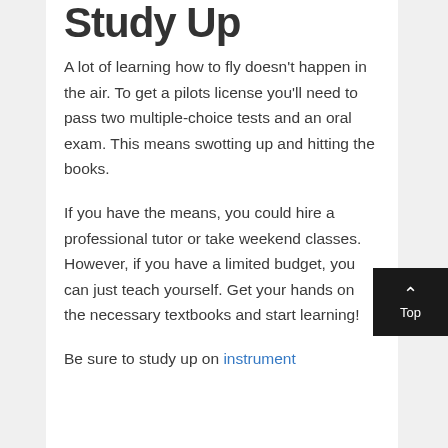Study Up
A lot of learning how to fly doesn't happen in the air. To get a pilots license you'll need to pass two multiple-choice tests and an oral exam. This means swotting up and hitting the books.
If you have the means, you could hire a professional tutor or take weekend classes. However, if you have a limited budget, you can just teach yourself. Get your hands on the necessary textbooks and start learning!
Be sure to study up on instrument